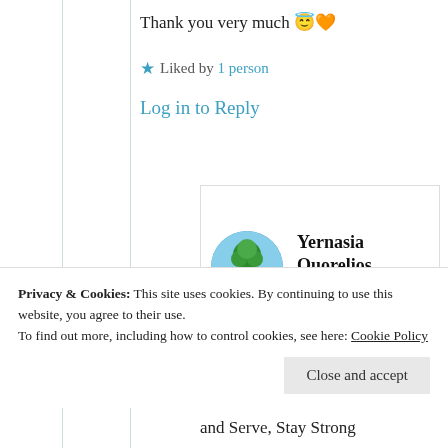Thank you very much 😇🧡
★ Liked by 1 person
Log in to Reply
Yernasia Quorelios
22nd Jun 2021 at 2:11 pm
Privacy & Cookies: This site uses cookies. By continuing to use this website, you agree to their use.
To find out more, including how to control cookies, see here: Cookie Policy
Close and accept
and Serve, Stay Strong